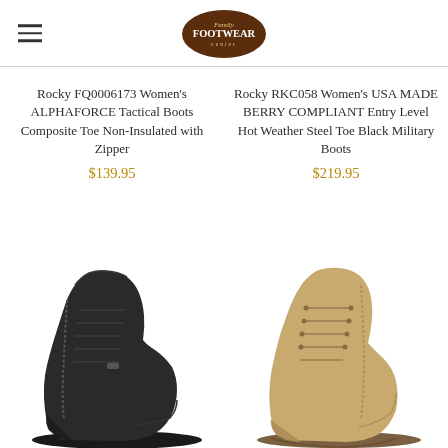Family Footwear Center (logo)
Rocky FQ0006173 Women's ALPHAFORCE Tactical Boots Composite Toe Non-Insulated with Zipper
$139.95
Rocky RKC058 Women's USA MADE BERRY COMPLIANT Entry Level Hot Weather Steel Toe Black Military Boots
$219.95
[Figure (photo): Black tactical lace-up boot, left side, partially cropped at bottom]
[Figure (photo): Tan/khaki military boot, right side, partially cropped at bottom]